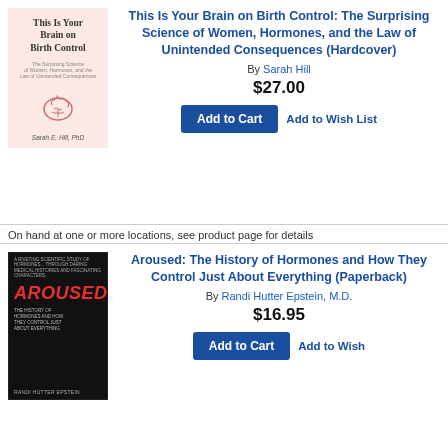[Figure (illustration): Book cover: 'This Is Your Brain on Birth Control' by Sarah E. Hill, PhD. Pink background with brain illustration.]
This Is Your Brain on Birth Control: The Surprising Science of Women, Hormones, and the Law of Unintended Consequences (Hardcover)
By Sarah Hill
$27.00
Add to Cart  Add to Wish List
On hand at one or more locations, see product page for details
[Figure (illustration): Book cover: 'AROUSED: The History of Hormones and How They Control Just About Everything' by Randi Hutter Epstein. Dark background with red glowing title.]
Aroused: The History of Hormones and How They Control Just About Everything (Paperback)
By Randi Hutter Epstein, M.D.
$16.95
Add to Cart  Add to Wish